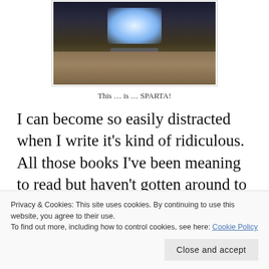[Figure (photo): A laptop computer on a desk, glowing with bright screen light in a dark room]
This … is … SPARTA!
I can become so easily distracted when I write it's kind of ridiculous. All those books I've been meaning to read but haven't gotten around to sing their sexy little songs
Privacy & Cookies: This site uses cookies. By continuing to use this website, you agree to their use. To find out more, including how to control cookies, see here: Cookie Policy
Close and accept
I'm trying to get started on a cold story. Those DVDs I